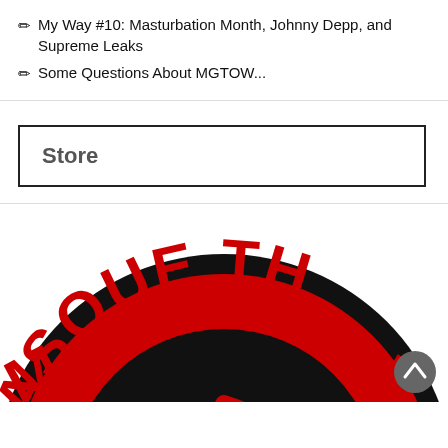✏ My Way #10: Masturbation Month, Johnny Depp, and Supreme Leaks
✏ Some Questions About MGTOW...
Store
[Figure (logo): Circular logo with red text 'MASQUETE' arranged in an arc on a black circle, with a decorative letter C in the center, partially cropped at the bottom of the page.]